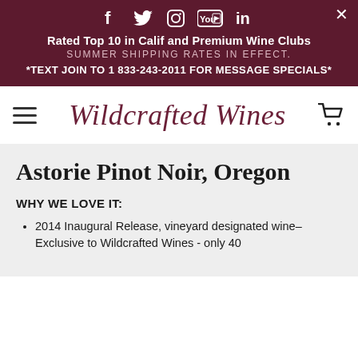f  twitter  instagram  YouTube  in  ×  Rated Top 10 in Calif and Premium Wine Clubs  SUMMER SHIPPING RATES IN EFFECT.  *TEXT JOIN TO 1 833-243-2011 FOR MESSAGE SPECIALS*
[Figure (logo): Wildcrafted Wines script logo with hamburger menu and cart icon]
Astorie Pinot Noir, Oregon
WHY WE LOVE IT:
2014 Inaugural Release, vineyard designated wine–Exclusive to Wildcrafted Wines - only 40